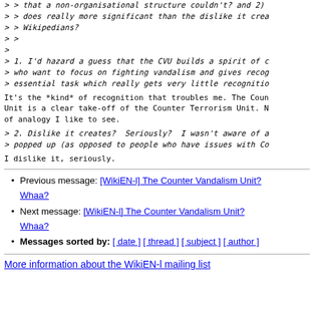> > that a non-organisational structure couldn't? and 2)
> > does really more significant than the dislike it crea
> > Wikipedians?
> >
>
> 1. I'd hazard a guess that the CVU builds a spirit of c
> who want to focus on fighting vandalism and gives recog
> essential task which really gets very little recognitio
It's the *kind* of recognition that troubles me. The Coun
Unit is a clear take-off of the Counter Terrorism Unit. N
of analogy I like to see.
> 2. Dislike it creates?  Seriously?  I wasn't aware of a
> popped up (as opposed to people who have issues with Co
I dislike it, seriously.
Previous message: [WikiEN-l] The Counter Vandalism Unit? Whaa?
Next message: [WikiEN-l] The Counter Vandalism Unit? Whaa?
Messages sorted by: [ date ] [ thread ] [ subject ] [ author ]
More information about the WikiEN-l mailing list